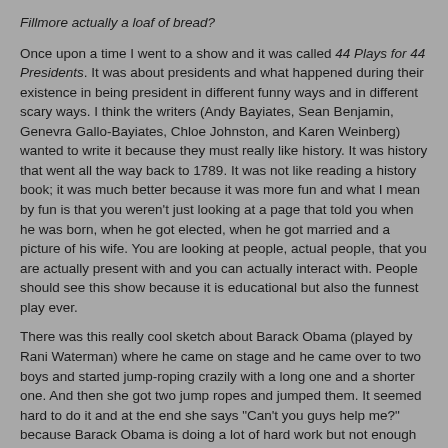Fillmore actually a loaf of bread?
Once upon a time I went to a show and it was called 44 Plays for 44 Presidents. It was about presidents and what happened during their existence in being president in different funny ways and in different scary ways. I think the writers (Andy Bayiates, Sean Benjamin, Genevra Gallo-Bayiates, Chloe Johnston, and Karen Weinberg) wanted to write it because they must really like history. It was history that went all the way back to 1789. It was not like reading a history book; it was much better because it was more fun and what I mean by fun is that you weren't just looking at a page that told you when he was born, when he got elected, when he got married and a picture of his wife. You are looking at people, actual people, that you are actually present with and you can actually interact with. People should see this show because it is educational but also the funnest play ever.
There was this really cool sketch about Barack Obama (played by Rani Waterman) where he came on stage and he came over to two boys and started jump-roping crazily with a long one and a shorter one. And then she got two jump ropes and jumped them. It seemed hard to do it and at the end she says "Can't you guys help me?" because Barack Obama is doing a lot of hard work but not enough people are helping him.